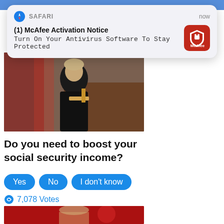[Figure (screenshot): Safari browser notification overlay showing McAfee Activation Notice]
[Figure (photo): Photo of a woman in black clothing holding a gavel in front of an American flag]
Do you need to boost your social security income?
[Figure (other): Poll buttons: Yes, No, I don't know with 7,078 Votes]
[Figure (photo): Photo of a man against a red background]